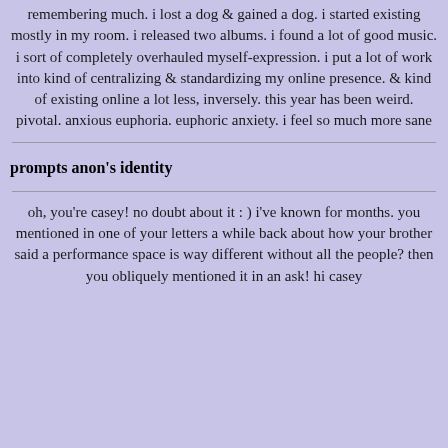remembering much. i lost a dog & gained a dog. i started existing mostly in my room. i released two albums. i found a lot of good music. i sort of completely overhauled myself-expression. i put a lot of work into kind of centralizing & standardizing my online presence. & kind of existing online a lot less, inversely. this year has been weird. pivotal. anxious euphoria. euphoric anxiety. i feel so much more sane
prompts anon's identity
oh, you're casey! no doubt about it : ) i've known for months. you mentioned in one of your letters a while back about how your brother said a performance space is way different without all the people? then you obliquely mentioned it in an ask! hi casey